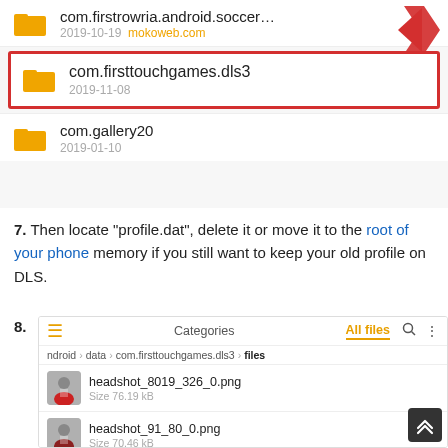[Figure (screenshot): Android file manager showing folder list with com.firstrowria.android.soccer... (2019-10-19), com.firsttouchgames.dls3 (2019-11-08) highlighted with red border and red arrow pointing to it, and com.gallery20 (2019-01-10)]
7. Then locate "profile.dat", delete it or move it to the root of your phone memory if you still want to keep your old profile on DLS.
8.
[Figure (screenshot): Android file manager screenshot showing breadcrumb: ndroid > data > com.firsttouchgames.dls3 > files, with tabs: Categories, All files (selected in orange), search and more icons. Files listed: headshot_8019_326_0.png (Size 76.19 kB) and headshot_91_80_0.png (Size 70.46 kB)]